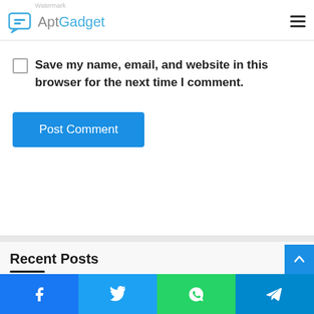AptGadget — website logo and navigation menu icon
Save my name, email, and website in this browser for the next time I comment.
Post Comment
Recent Posts
How to Unlock a Samsung Refrigerator
Why Should You Buy An Audio Interface?
How to Successfully Create Houston Billboards
Facebook, Twitter, WhatsApp, Telegram social share buttons